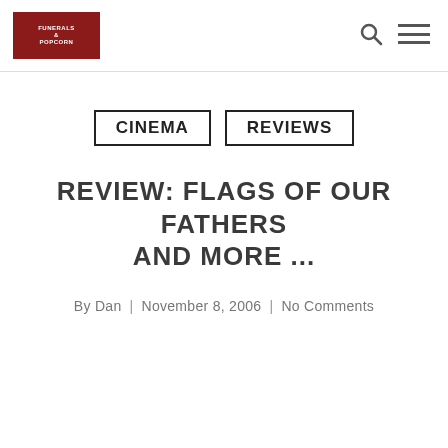Funerals & Popcorn — CINEMA | REVIEWS
CINEMA  REVIEWS
REVIEW: FLAGS OF OUR FATHERS AND MORE ...
By Dan | November 8, 2006 | No Comments